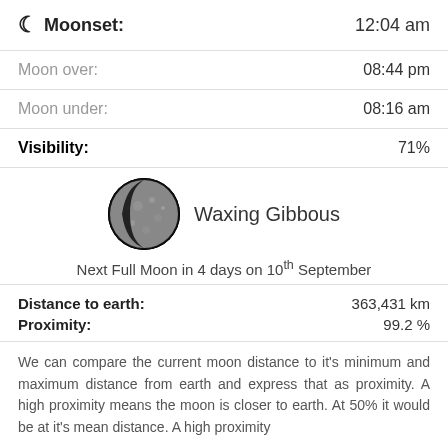Moonset: 12:04 am
Moon over: 08:44 pm
Moon under: 08:16 am
Visibility: 71%
[Figure (photo): Waxing Gibbous moon phase image — circular photo of the moon showing a gibbous phase with the left side dark]
Waxing Gibbous
Next Full Moon in 4 days on 10th September
Distance to earth: 363,431 km
Proximity: 99.2 %
We can compare the current moon distance to it's minimum and maximum distance from earth and express that as proximity. A high proximity means the moon is closer to earth. At 50% it would be at it's mean distance. A high proximity